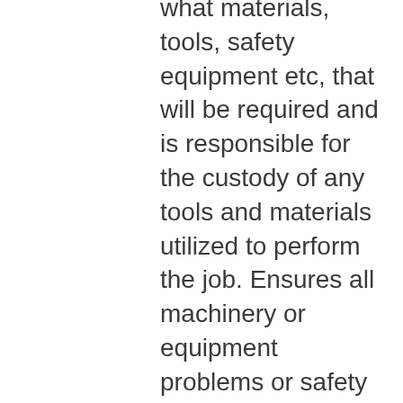what materials, tools, safety equipment etc, that will be required and is responsible for the custody of any tools and materials utilized to perform the job. Ensures all machinery or equipment problems or safety hazards are reported and corrected to avoid any personnel or mechanical mishaps. Incumbent must be fully familiar with all approved safety procedures involving the movement, stowage, loading, discharging of cargo. When assigned to ammunition ship, must be familiar with ammunition handling procedures, classification of ammunition, stowage and safety. Ensures safety procedures and NAVOSH programs are enforced and followed, and must be thoroughly familiar with the Safety Management